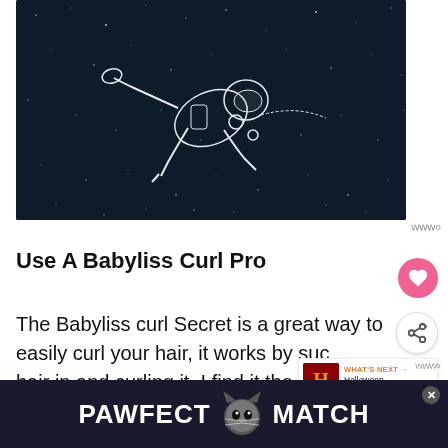[Figure (illustration): Dark space/night sky background with a line-art illustration of an astronaut floating in space, drawn in white outline style on a dark navy background with small star dots]
Use A Babyliss Curl Pro
The Babyliss curl Secret is a great way to easily curl your hair, it works by suc hair in and curling it. I find it the easiest way to [continues below]
[Figure (photo): WHAT'S NEXT arrow label with Halloween Alphabet thumbnail - small promotional box with red/orange book cover thumbnail and text 'WHAT'S NEXT → Halloween Alphabet...']
[Figure (infographic): PAWFECT MATCH advertisement banner with cat photo in center, white bold text on dark navy background, with close X button]